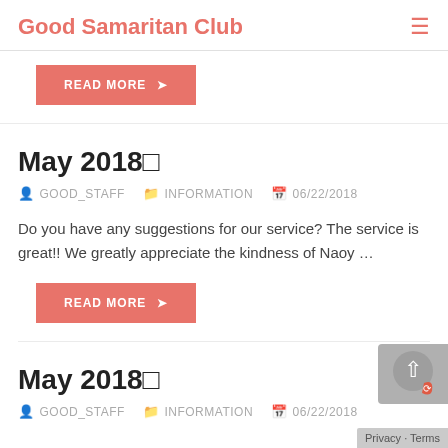Good Samaritan Club
READ MORE →
May 2018🔔
GOOD_STAFF   INFORMATION   06/22/2018
Do you have any suggestions for our service? The service is great!! We greatly appreciate the kindness of Naoy …
READ MORE →
May 2018🔔
GOOD_STAFF   INFORMATION   06/22/2018